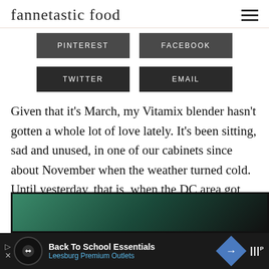fannetastic food
[Figure (screenshot): Social media share buttons: PINTEREST, FACEBOOK (top row, partially visible), TWITTER, EMAIL (bottom row)]
Given that it's March, my Vitamix blender hasn't gotten a whole lot of love lately. It's been sitting, sad and unused, in one of our cabinets since about November when the weather turned cold. Until yesterday, that is, when the DC area got another beautiful taste of spring.
[Figure (photo): Partially visible photo at bottom of page, appears to show green content]
[Figure (screenshot): Advertisement bar: Back To School Essentials - Leesburg Premium Outlets]